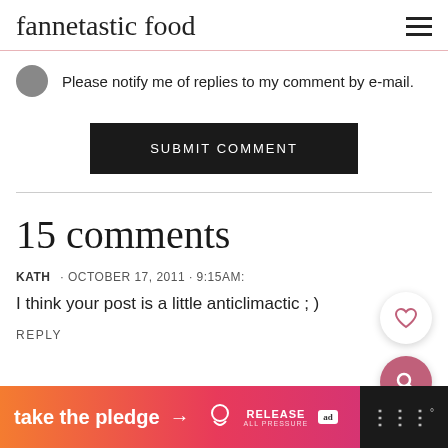fannetastic food
Please notify me of replies to my comment by e-mail.
SUBMIT COMMENT
15 comments
KATH · OCTOBER 17, 2011 · 9:15AM:
I think your post is a little anticlimactic ; )
REPLY
[Figure (infographic): Advertisement banner: 'take the pledge' with arrow and RELEASE branding on gradient orange-to-pink background]